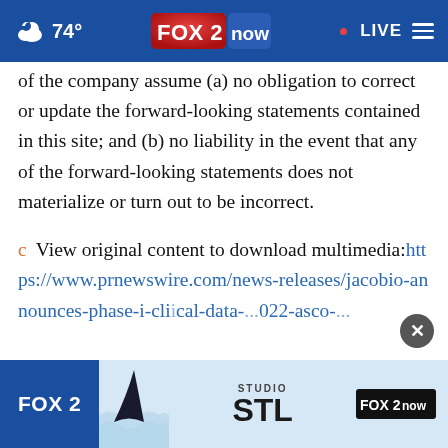74° FOX 2 now · LIVE ☰
of the company assume (a) no obligation to correct or update the forward-looking statements contained in this site; and (b) no liability in the event that any of the forward-looking statements does not materialize or turn out to be incorrect.
View original content to download multimedia:https://www.prnewswire.com/news-releases/jacobio-announces-phase-i-clinical-data-...-2022-asco-...
[Figure (screenshot): FOX 2 Studio STL advertisement banner at the bottom of the page with FOX 2 now logo]